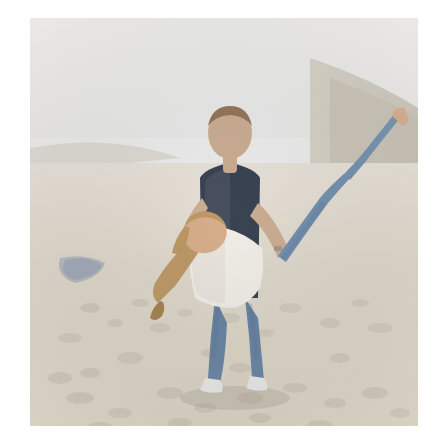[Figure (photo): A couple on a sandy beach. A man dips a woman backward in a romantic kiss. The woman is wearing a white top and blue jeans, her legs lifted up. The man is wearing a dark top and blue jeans with white sneakers. The background shows sand dunes and a pale overcast sky. Footprints are visible in the sand.]